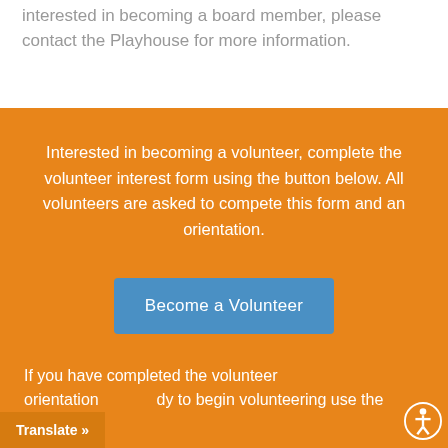interested in becoming a board member, please contact the Playhouse for more information.
Interested in becoming a volunteer, complete the volunteer interest form using the button below. All volunteers are asked to compete this form and an orientation.
Become a Volunteer
If you have completed the volunteer orientation dy to begin volunteering use the
Translate »